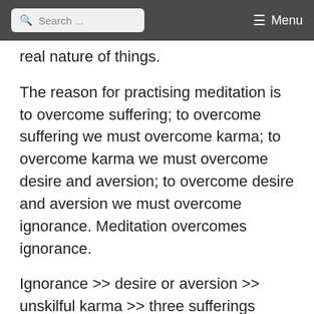Search ... Menu
real nature of things.
The reason for practising meditation is to overcome suffering; to overcome suffering we must overcome karma; to overcome karma we must overcome desire and aversion; to overcome desire and aversion we must overcome ignorance. Meditation overcomes ignorance.
Ignorance >> desire or aversion >> unskilful karma >> three sufferings
No beings want suffering; they all want to remove it. Most do not know how to, and some even create suffering in their efforts to remove it. People take